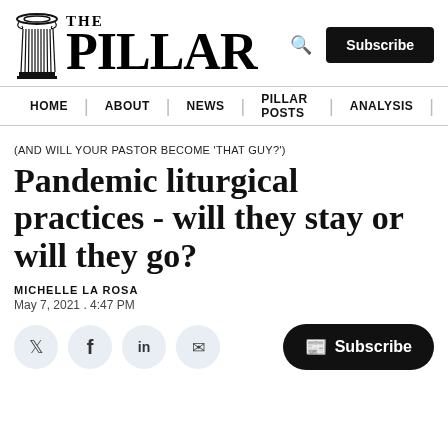[Figure (logo): The Pillar logo with Greek column icon and bold serif text]
HOME | ABOUT | NEWS | PILLAR POSTS | ANALYSIS |
(AND WILL YOUR PASTOR BECOME 'THAT GUY?')
Pandemic liturgical practices - will they stay or will they go?
MICHELLE LA ROSA
May 7, 2021 . 4:47 PM